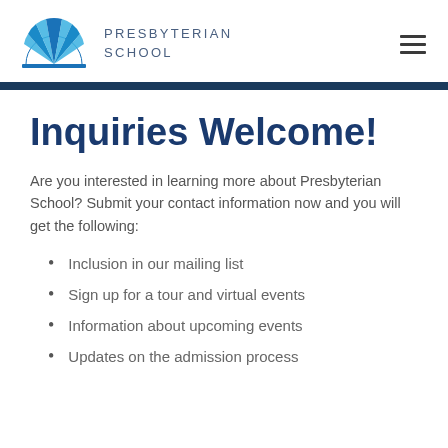PRESBYTERIAN SCHOOL
Inquiries Welcome!
Are you interested in learning more about Presbyterian School? Submit your contact information now and you will get the following:
Inclusion in our mailing list
Sign up for a tour and virtual events
Information about upcoming events
Updates on the admission process